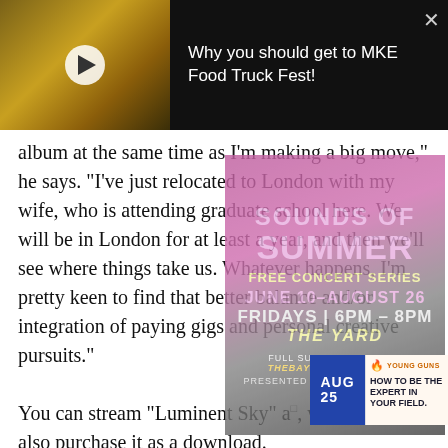[Figure (screenshot): Video thumbnail showing food items, with play button overlay]
Why you should get to MKE Food Truck Fest!
album at the same time as I'm making a big move," he says. "I've just relocated to London with my wife, who is attending graduate school here. We will be in London for at least a year, and then we'll see where things take us. Whatever happens, I'm pretty keen to find that better balance and/or integration of paying gigs and personal creative pursuits."
[Figure (infographic): Sounds of Summer Free Concert Series overlay ad. June 10-August 26, Fridays 6PM-8PM, The Yard. Full summer series at thebayshorelife.com. Presented by OnMilwaukee.]
You can stream "Luminent Sky" a, where you can also purchase it as a download.